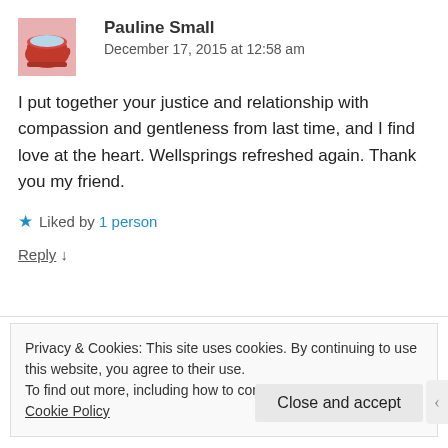[Figure (photo): Avatar image of a red mug with a hot drink on a pink background]
Pauline Small
December 17, 2015 at 12:58 am
I put together your justice and relationship with compassion and gentleness from last time, and I find love at the heart. Wellsprings refreshed again. Thank you my friend.
★ Liked by 1 person
Reply ↓
Privacy & Cookies: This site uses cookies. By continuing to use this website, you agree to their use.
To find out more, including how to control cookies, see here: Cookie Policy
Close and accept